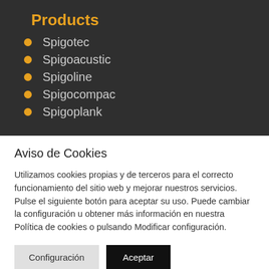Products
Spigotec
Spigoacustic
Spigoline
Spigocompac
Spigoplank
Aviso de Cookies
Utilizamos cookies propias y de terceros para el correcto funcionamiento del sitio web y mejorar nuestros servicios. Pulse el siguiente botón para aceptar su uso. Puede cambiar la configuración u obtener más información en nuestra Política de cookies o pulsando Modificar configuración.
Configuración | Aceptar